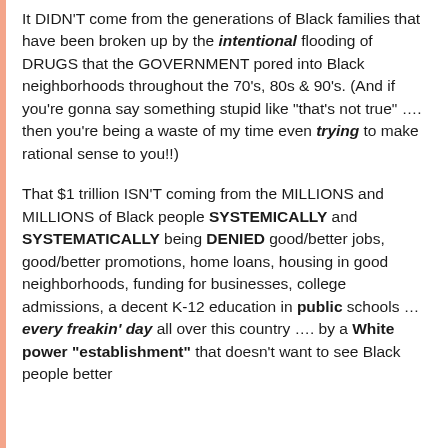It DIDN'T come from the generations of Black families that have been broken up by the intentional flooding of DRUGS that the GOVERNMENT pored into Black neighborhoods throughout the 70's, 80s & 90's. (And if you're gonna say something stupid like "that's not true" .... then you're being a waste of my time even trying to make rational sense to you!!)

That $1 trillion ISN'T coming from the MILLIONS and MILLIONS of Black people SYSTEMICALLY and SYSTEMATICALLY being DENIED good/better jobs, good/better promotions, home loans, housing in good neighborhoods, funding for businesses, college admissions, a decent K-12 education in public schools … every freakin' day all over this country …. by a White power "establishment" that doesn't want to see Black people better